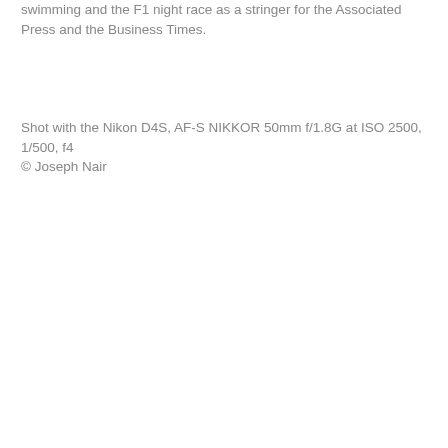swimming and the F1 night race as a stringer for the Associated Press and the Business Times.
Shot with the Nikon D4S, AF-S NIKKOR 50mm f/1.8G at ISO 2500, 1/500, f4
© Joseph Nair